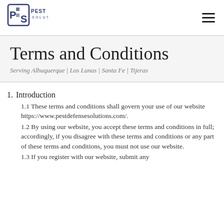[Figure (logo): Pest Defense Solutions logo with stylized PDS letters and company name]
Terms and Conditions
Serving Albuquerque | Los Lunas | Santa Fe | Tijeras
1. Introduction
1.1 These terms and conditions shall govern your use of our website https://www.pestdefensesolutions.com/.
1.2 By using our website, you accept these terms and conditions in full; accordingly, if you disagree with these terms and conditions or any part of these terms and conditions, you must not use our website.
1.3 If you register with our website, submit any